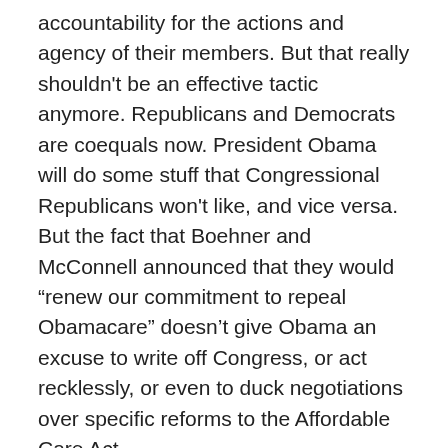accountability for the actions and agency of their members. But that really shouldn't be an effective tactic anymore. Republicans and Democrats are coequals now. President Obama will do some stuff that Congressional Republicans won't like, and vice versa. But the fact that Boehner and McConnell announced that they would “renew our commitment to repeal Obamacare” doesn’t give Obama an excuse to write off Congress, or act recklessly, or even to duck negotiations over specific reforms to the Affordable Care Act.
The administration would endure endless derision if Obama or his top aides said Obama wouldn’t cooperate with Republicans because their latest Obamacare repeal vote had “poisoned the well.” When congressional Republicans used the same language prior to the election,